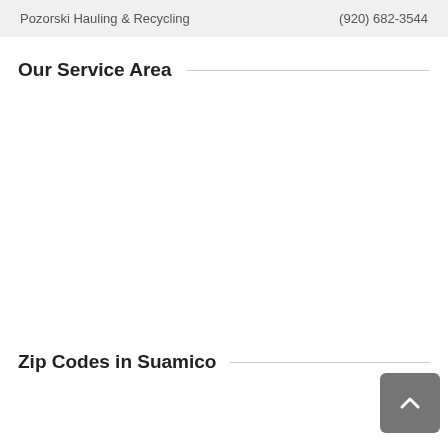| Business | Phone |
| --- | --- |
| Pozorski Hauling & Recycling | (920) 682-3544 |
Our Service Area
[Figure (map): Map showing the service area]
Zip Codes in Suamico